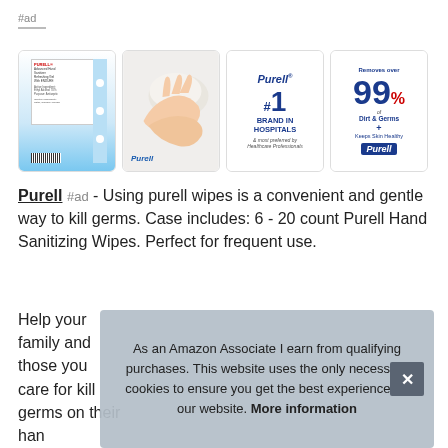#ad
[Figure (photo): Four product images for Purell hand sanitizing wipes: product back label, hands using wipe, #1 Brand in Hospitals marketing image, and 99% Removes Dirt & Germs marketing image]
Purell #ad - Using purell wipes is a convenient and gentle way to kill germs. Case includes: 6 - 20 count Purell Hand Sanitizing Wipes. Perfect for frequent use.
Help your family and those you care for kill germs on their han... form... che... mak... you...
As an Amazon Associate I earn from qualifying purchases. This website uses the only necessary cookies to ensure you get the best experience on our website. More information